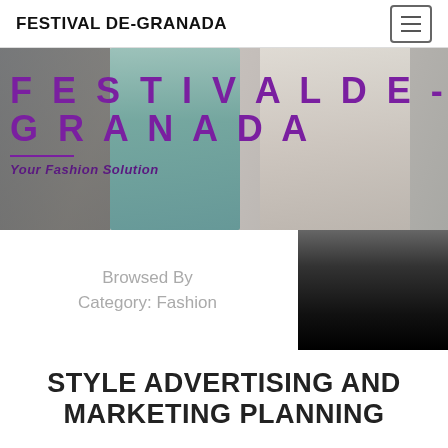FESTIVAL DE-GRANADA
[Figure (photo): Hero banner with two women talking outdoors, overlaid with large purple text 'FESTIVAL DE-GRANADA' and subtitle 'Your Fashion Solution']
FESTIVAL DE-GRANADA
Your Fashion Solution
[Figure (photo): Section with 'Browsed By Category: Fashion' text on left and dark fashion image on right]
Browsed By Category: Fashion
STYLE ADVERTISING AND MARKETING PLANNING
May 17, 2022  Thelma